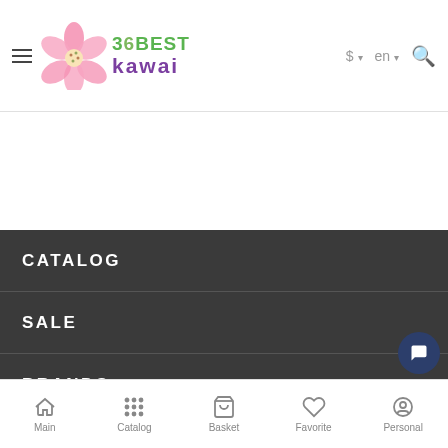36BEST kawai — $ en (header navigation)
CATALOG
SALE
BRANDS
— 1 + ADD TO CART
Main | Catalog | Basket | Favorite | Personal